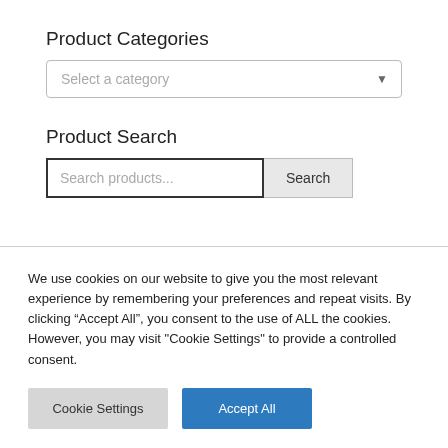Product Categories
Select a category
Product Search
Search products...
Search
We use cookies on our website to give you the most relevant experience by remembering your preferences and repeat visits. By clicking “Accept All”, you consent to the use of ALL the cookies. However, you may visit "Cookie Settings" to provide a controlled consent.
Cookie Settings
Accept All